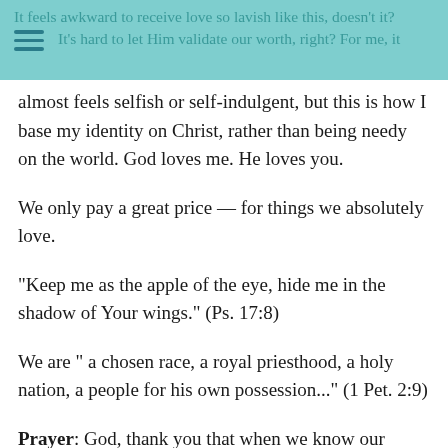It feels awkward to receive love so lavish like this, doesn't it? It's hard to let Him validate our worth, right? For me, it
almost feels selfish or self-indulgent, but this is how I base my identity on Christ, rather than being needy on the world. God loves me. He loves you.
We only pay a great price — for things we absolutely love.
"Keep me as the apple of the eye, hide me in the shadow of Your wings." (Ps. 17:8)
We are " a chosen race, a royal priesthood, a holy nation, a people for his own possession..." (1 Pet. 2:9)
Prayer: God, thank you that when we know our worth in You, the worth other people ascribe to us doesn't matter. Help us to know how you see us. Let us understand the lengths, widths, depths and heights of your love. Let us know how